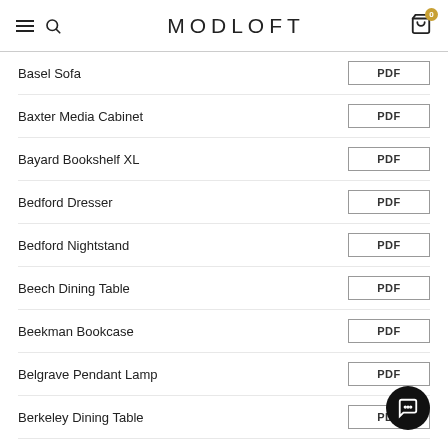MODLOFT
Basel Sofa — PDF
Baxter Media Cabinet — PDF
Bayard Bookshelf XL — PDF
Bedford Dresser — PDF
Bedford Nightstand — PDF
Beech Dining Table — PDF
Beekman Bookcase — PDF
Belgrave Pendant Lamp — PDF
Berkeley Dining Table — PDF
Bethune King Bed — PDF
Bond King Bed — PDF